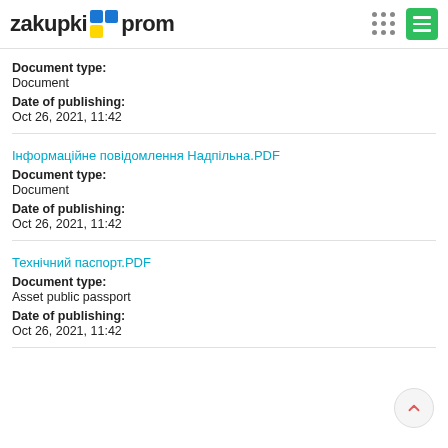zakupki prom
Document type:
Document
Date of publishing:
Oct 26, 2021, 11:42
Інформаційне повідомлення Надпільна.PDF
Document type:
Document
Date of publishing:
Oct 26, 2021, 11:42
Технічний паспорт.PDF
Document type:
Asset public passport
Date of publishing:
Oct 26, 2021, 11:42